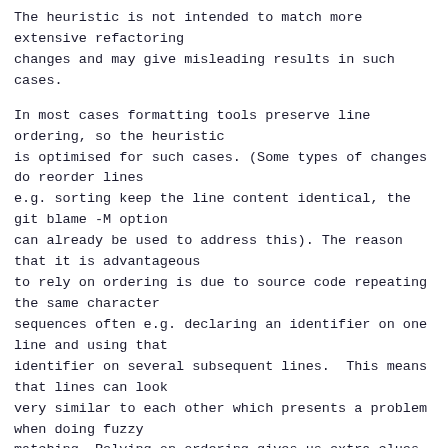The heuristic is not intended to match more extensive refactoring
changes and may give misleading results in such cases.
In most cases formatting tools preserve line ordering, so the heuristic
is optimised for such cases. (Some types of changes do reorder lines
e.g. sorting keep the line content identical, the git blame -M option
can already be used to address this). The reason that it is advantageous
to rely on ordering is due to source code repeating the same character
sequences often e.g. declaring an identifier on one line and using that
identifier on several subsequent lines.  This means that lines can look
very similar to each other which presents a problem when doing fuzzy
matching. Relying on ordering gives us extra clues to point towards the
true match.
The heuristic operates on a single diff chunk change at a time. It
creates a “fingerprint” for each line on each side of the change.
Fingerprints are described in detail in the comment for
`struct